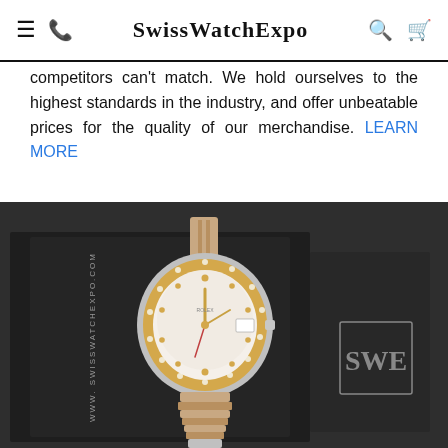SwissWatchExpo
competitors can't match. We hold ourselves to the highest standards in the industry, and offer unbeatable prices for the quality of our merchandise. LEARN MORE
[Figure (photo): A luxury Rolex Datejust watch with diamond bezel and two-tone rose gold and steel jubilee bracelet, placed on a dark grey Swiss Watch Expo branded box. The box shows 'www.SwissWatchExpo.com' and a grey embossed 'SWE' logo.]